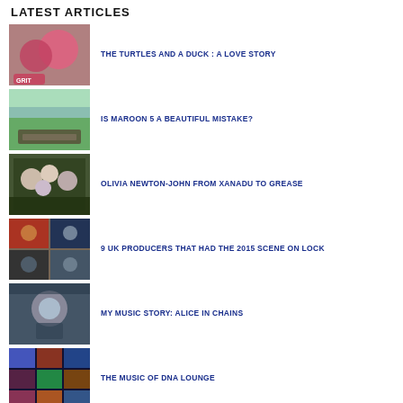LATEST ARTICLES
THE TURTLES AND A DUCK : A LOVE STORY
IS MAROON 5 A BEAUTIFUL MISTAKE?
OLIVIA NEWTON-JOHN FROM XANADU TO GREASE
9 UK PRODUCERS THAT HAD THE 2015 SCENE ON LOCK
MY MUSIC STORY: ALICE IN CHAINS
THE MUSIC OF DNA LOUNGE